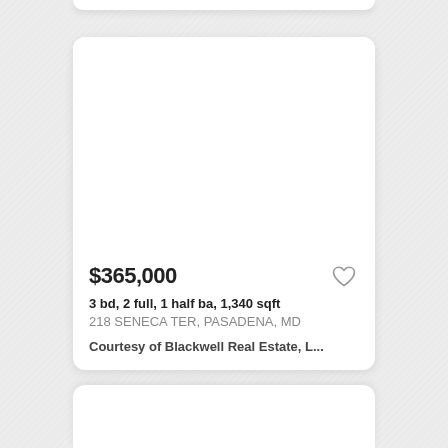[Figure (other): Partial top of a real estate listing card, white rounded rectangle, top edge cut off]
[Figure (other): Real estate listing card with white background, large white image area at top, listing details below]
$365,000
3 bd, 2 full, 1 half ba, 1,340 sqft
218 SENECA TER, PASADENA, MD
Courtesy of Blackwell Real Estate, L...
[Figure (other): Partial bottom of another real estate listing card, white rounded rectangle, bottom cut off]